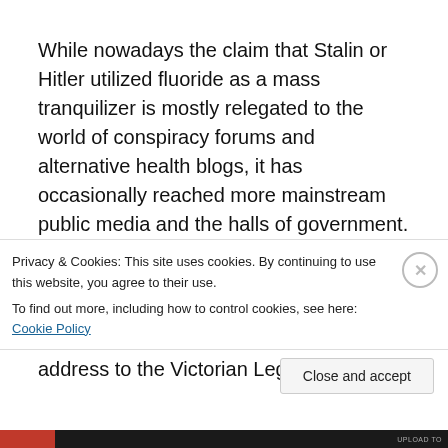While nowadays the claim that Stalin or Hitler utilized fluoride as a mass tranquilizer is mostly relegated to the world of conspiracy forums and alternative health blogs, it has occasionally reached more mainstream public media and the halls of government. One much cited example was a statement by Harley R. Dickinson, Liberal Party Member of the Victorian Parliament for South Barwon, Australia. In his 1987 address to the Victorian Legislative
Privacy & Cookies: This site uses cookies. By continuing to use this website, you agree to their use.
To find out more, including how to control cookies, see here: Cookie Policy
Close and accept